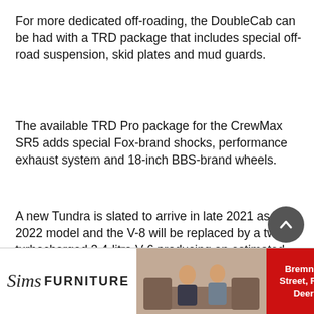For more dedicated off-roading, the DoubleCab can be had with a TRD package that includes special off-road suspension, skid plates and mud guards.
The available TRD Pro package for the CrewMax SR5 adds special Fox-brand shocks, performance exhaust system and 18-inch BBS-brand wheels.
A new Tundra is slated to arrive in late 2021 as a 2022 model and the V-8 will be replaced by a twin-turbocharged 3.4-litre V-6 producing an estimated 389 horsepower and 479 pound-feet of torque. That engine will also be installed in the Toyota Sequoia and the related Lexus GX utility vehicles. An optional electric motor assist (mild hybri…
[Figure (photo): Advertisement banner for Sims Furniture with logo on the left, photo of two people on a sofa in the center, and red box with text 'Bremner Street, Red Deer' on the right.]